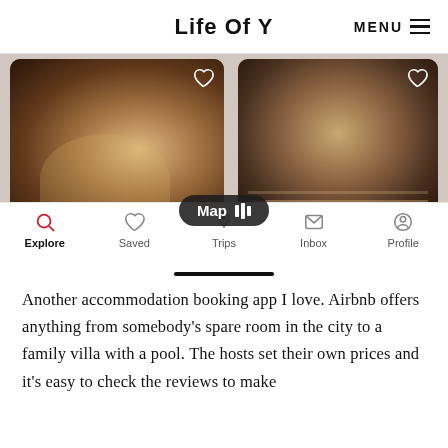Life Of Y  MENU
[Figure (screenshot): Screenshot of Airbnb app showing two photos (a woman in a hat browsing a market, and people at a long food counter) with heart icons, a Map button overlay, and bottom navigation bar with Explore, Saved, Trips, Inbox, Profile tabs.]
Another accommodation booking app I love. Airbnb offers anything from somebody's spare room in the city to a family villa with a pool. The hosts set their own prices and it's easy to check the reviews to make sure you're booking with a trustworthy host.